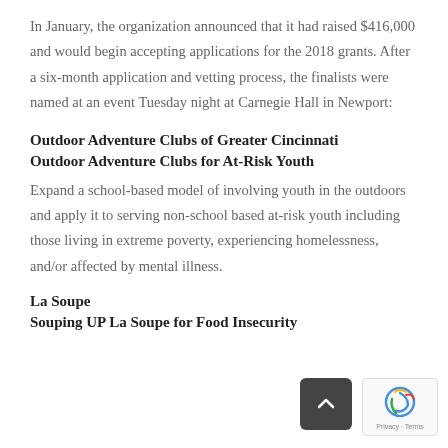In January, the organization announced that it had raised $416,000 and would begin accepting applications for the 2018 grants. After a six-month application and vetting process, the finalists were named at an event Tuesday night at Carnegie Hall in Newport:
Outdoor Adventure Clubs of Greater Cincinnati
Outdoor Adventure Clubs for At-Risk Youth
Expand a school-based model of involving youth in the outdoors and apply it to serving non-school based at-risk youth including those living in extreme poverty, experiencing homelessness, and/or affected by mental illness.
La Soupe
Souping UP La Soupe for Food Insecurity